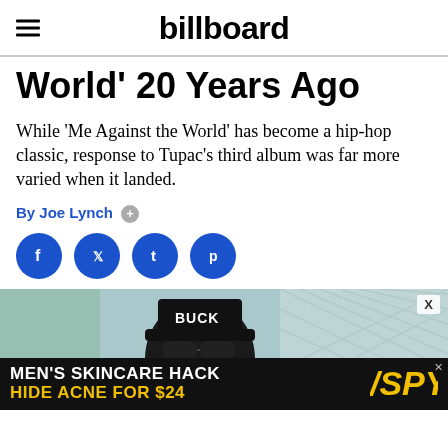billboard
World' 20 Years Ago
While 'Me Against the World' has become a hip-hop classic, response to Tupac's third album was far more varied when it landed.
By Joe Lynch +
[Figure (other): Social media share buttons: Facebook, Twitter, Tumblr, Pinterest]
[Figure (photo): Photo of a person wearing a black hat with BUCK text and sunglasses, in front of a white lattice/fence background]
MEN'S SKINCARE HACK HIDE ACNE FOR $24 SPY